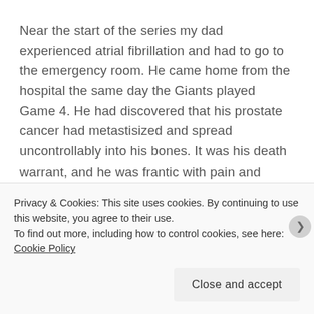Near the start of the series my dad experienced atrial fibrillation and had to go to the emergency room. He came home from the hospital the same day the Giants played Game 4. He had discovered that his prostate cancer had metastisized and spread uncontrollably into his bones. It was his death warrant, and he was frantic with pain and anxiety. That evening, while the final game of the World Series was being played on TV, I had to go out driving in search of an open pharmacy that had the kind of pain patch he needed, because he'd run out. I
Privacy & Cookies: This site uses cookies. By continuing to use this website, you agree to their use.
To find out more, including how to control cookies, see here: Cookie Policy
Close and accept